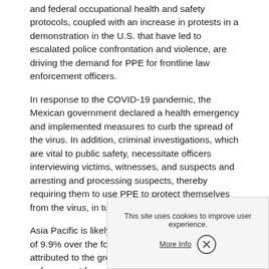and federal occupational health and safety protocols, coupled with an increase in protests in a demonstration in the U.S. that have led to escalated police confrontation and violence, are driving the demand for PPE for frontline law enforcement officers.
In response to the COVID-19 pandemic, the Mexican government declared a health emergency and implemented measures to curb the spread of the virus. In addition, criminal investigations, which are vital to public safety, necessitate officers interviewing victims, witnesses, and suspects and arresting and processing suspects, thereby requiring them to use PPE to protect themselves from the virus, in turn, driving the market demand.
Asia Pacific is likely to expand at the fastest CAGR of 9.9% over the forecast period. This can be attributed to the growing demand for law enforcement forces in left-wing extremism such as India that have witnessed an increased attack on